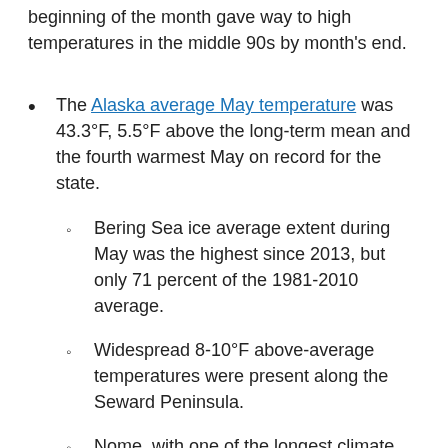beginning of the month gave way to high temperatures in the middle 90s by month's end.
The Alaska average May temperature was 43.3°F, 5.5°F above the long-term mean and the fourth warmest May on record for the state.
Bering Sea ice average extent during May was the highest since 2013, but only 71 percent of the 1981-2010 average.
Widespread 8-10°F above-average temperatures were present along the Seward Peninsula.
Nome, with one of the longest climate records in the state, experienced its warmest May on record, breaking the previous record set back in 1983 by nearly